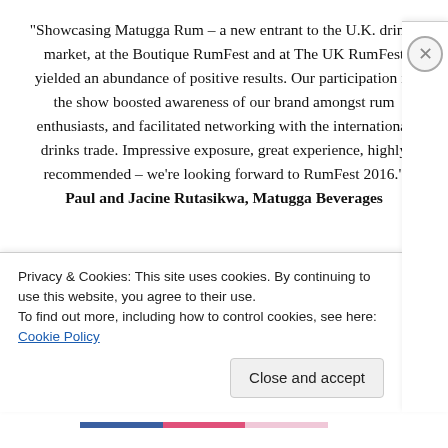“Showcasing Matugga Rum – a new entrant to the U.K. drinks market, at the Boutique RumFest and at The UK RumFest yielded an abundance of positive results. Our participation in the show boosted awareness of our brand amongst rum enthusiasts, and facilitated networking with the international drinks trade. Impressive exposure, great experience, highly recommended – we’re looking forward to RumFest 2016.” Paul and Jacine Rutasikwa, Matugga Beverages
“Once again, the Dunnies enjoyed spreading the mischief
Privacy & Cookies: This site uses cookies. By continuing to use this website, you agree to their use.
To find out more, including how to control cookies, see here: Cookie Policy